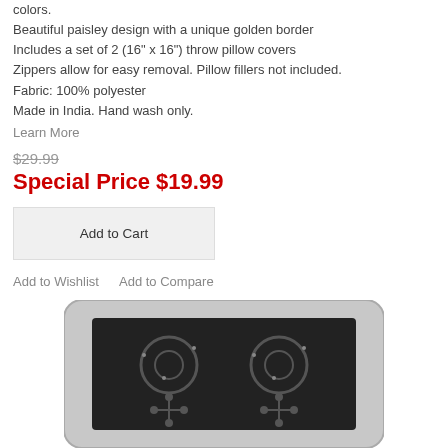colors.
Beautiful paisley design with a unique golden border
Includes a set of 2 (16" x 16") throw pillow covers
Zippers allow for easy removal. Pillow fillers not included.
Fabric: 100% polyester
Made in India. Hand wash only.
Learn More
$29.99
Special Price $19.99
Add to Cart
Add to Wishlist   Add to Compare
[Figure (photo): Black and silver/white paisley throw pillow with embroidered floral design and beaded accents]